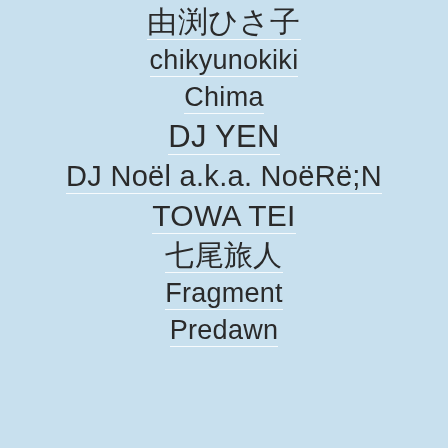由渕ひさ子
chikyunokiki
Chima
DJ YEN
DJ Noël a.k.a. NoëRë;N
TOWA TEI
七尾旅人
Fragment
Predawn